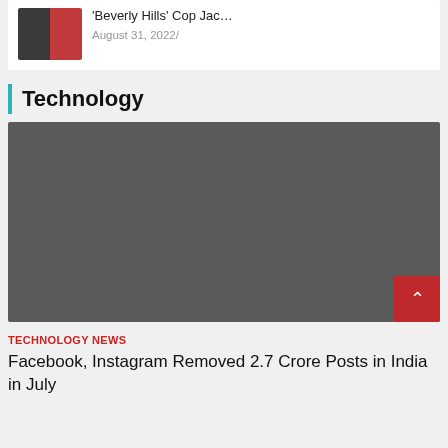[Figure (photo): Small thumbnail image split into dark left half and red right half, representing a Beverly Hills Cop article image]
'Beverly Hills' Cop Jac…
August 31, 2022/
Technology
[Figure (photo): Large dark gray placeholder image for Technology article]
TECHNOLOGY NEWS
Facebook, Instagram Removed 2.7 Crore Posts in India in July